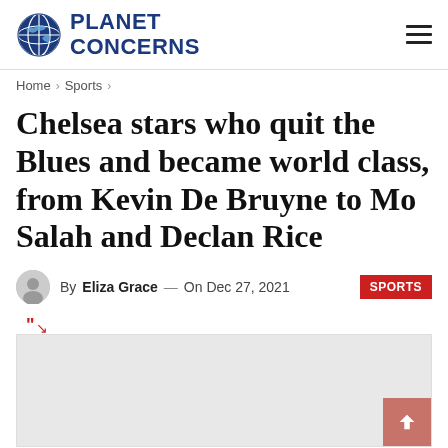PLANET CONCERNS
Home > Sports >
Chelsea stars who quit the Blues and became world class, from Kevin De Bruyne to Mo Salah and Declan Rice
By Eliza Grace — On Dec 27, 2021  SPORTS
[Figure (photo): Article featured image placeholder (light gray)]